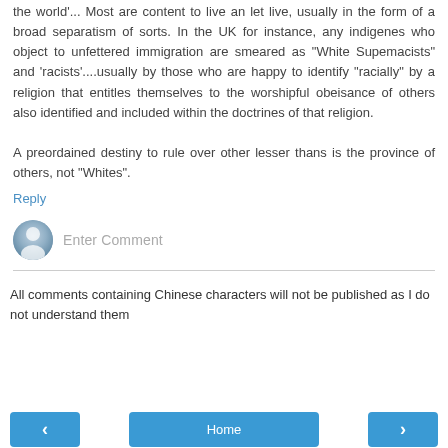the world'... Most are content to live an let live, usually in the form of a broad separatism of sorts. In the UK for instance, any indigenes who object to unfettered immigration are smeared as "White Supemacists" and 'racists'....usually by those who are happy to identify "racially" by a religion that entitles themselves to the worshipful obeisance of others also identified and included within the doctrines of that religion.

A preordained destiny to rule over other lesser thans is the province of others, not "Whites".
Reply
[Figure (other): User avatar icon - grey silhouette of a person on blue-grey gradient circle]
Enter Comment
All comments containing Chinese characters will not be published as I do not understand them
< Home >